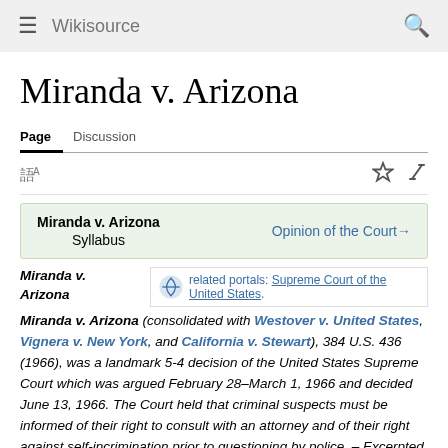Wikisource
Miranda v. Arizona
Page | Discussion
| Miranda v. Arizona
Syllabus | Opinion of the Court→ |
related portals: Supreme Court of the United States.
Miranda v. Arizona (consolidated with Westover v. United States, Vignera v. New York, and California v. Stewart), 384 U.S. 436 (1966), was a landmark 5-4 decision of the United States Supreme Court which was argued February 28–March 1, 1966 and decided June 13, 1966. The Court held that criminal suspects must be informed of their right to consult with an attorney and of their right against self-incrimination prior to questioning by police. – Excerpted from